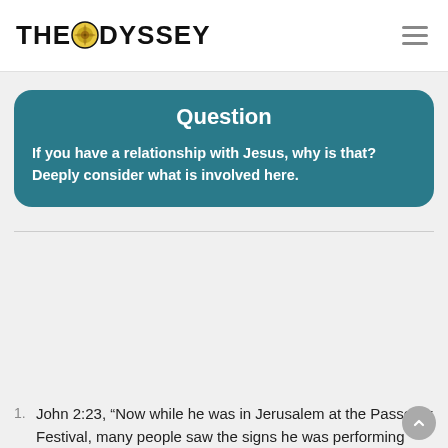THE ODYSSEY
Question
If you have a relationship with Jesus, why is that? Deeply consider what is involved here.
John 2:23, “Now while he was in Jerusalem at the Passover Festival, many people saw the signs he was performing